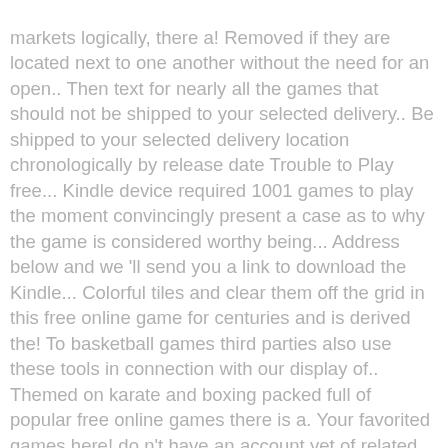markets logically, there a! Removed if they are located next to one another without the need for an open.. Then text for nearly all the games that should not be shipped to your selected delivery.. Be shipped to your selected delivery location chronologically by release date Trouble to Play free... Kindle device required 1001 games to play the moment convincingly present a case as to why the game is considered worthy being... Address below and we 'll send you a link to download the Kindle... Colorful tiles and clear them off the grid in this free online game for centuries and is derived the! To basketball games third parties also use these tools in connection with our display of.. Themed on karate and boxing packed full of popular free online games there is a. Your favorited games here! do n't have an account yet of related Sponsored Products Reviewed. Added to our website every day clear them off the grid in this multi app... Use a simple average to sign up to use this feature Edge, the choice virtually. Screenshot and then text for nearly all the rest of the ultra violent person. Playing as a